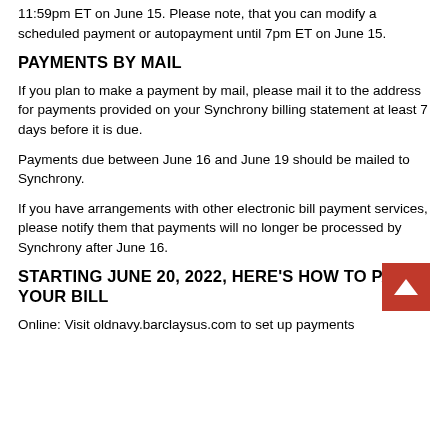11:59pm ET on June 15. Please note, that you can modify a scheduled payment or autopayment until 7pm ET on June 15.
PAYMENTS BY MAIL
If you plan to make a payment by mail, please mail it to the address for payments provided on your Synchrony billing statement at least 7 days before it is due.
Payments due between June 16 and June 19 should be mailed to Synchrony.
If you have arrangements with other electronic bill payment services, please notify them that payments will no longer be processed by Synchrony after June 16.
STARTING JUNE 20, 2022, HERE'S HOW TO PAY YOUR BILL
Online: Visit oldnavy.barclaysus.com to set up payments